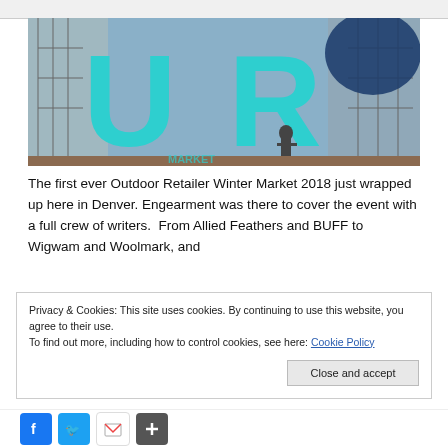[Figure (photo): Large teal/turquoise UR letters sign outside a building at the Outdoor Retailer Winter Market 2018, with a person standing beneath the letters and scaffolding/buildings in background]
The first ever Outdoor Retailer Winter Market 2018 just wrapped up here in Denver. Engearment was there to cover the event with a full crew of writers.  From Allied Feathers and BUFF to Wigwam and Woolmark, and
Privacy & Cookies: This site uses cookies. By continuing to use this website, you agree to their use.
To find out more, including how to control cookies, see here: Cookie Policy
Close and accept